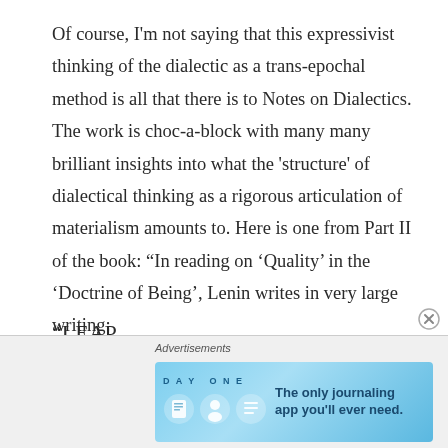Of course, I'm not saying that this expressivist thinking of the dialectic as a trans-epochal method is all that there is to Notes on Dialectics. The work is choc-a-block with many many brilliant insights into what the 'structure' of dialectical thinking as a rigorous articulation of materialism amounts to. Here is one from Part II of the book: “In reading on ‘Quality’ in the ‘Doctrine of Being’, Lenin writes in very large writing:
“LEAP
“LEAP
[Figure (other): Advertisement banner for Day One journaling app. Shows 'DAY ONE' text with journaling app icons and text 'The only journaling app you'll ever need.' on a blue background.]